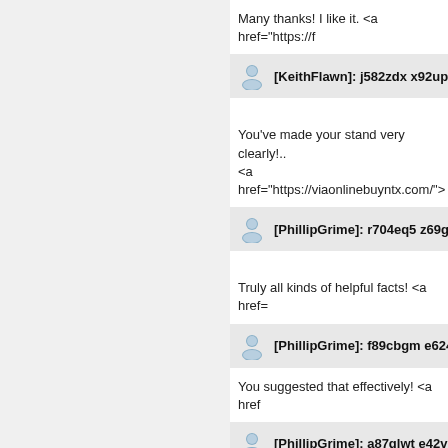Many thanks! I like it. <a href="https://f
[KeithFlawn]: j582zdx x92upp
You've made your stand very clearly!.. <a href="https://viaonlinebuyntx.com/">
[PhillipGrime]: r704eq5 z69guy
Truly all kinds of helpful facts! <a href=
[PhillipGrime]: f89cbgm e624do
You suggested that effectively! <a href
[PhillipGrime]: a87qlwt e42vro
This is nicely said! ! <a href="https://le
[...]: r75... 491...